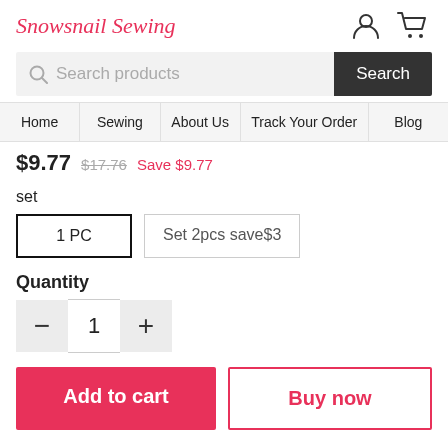Snowsnail Sewing
$9.77  $17.76  Save $9.77
set
1 PC  |  Set 2pcs save$3
Quantity
1
Add to cart  |  Buy now